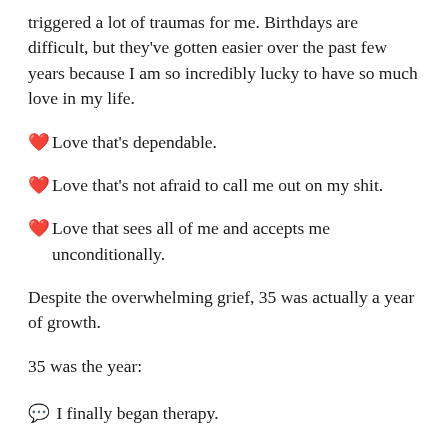triggered a lot of traumas for me. Birthdays are difficult, but they've gotten easier over the past few years because I am so incredibly lucky to have so much love in my life.
🧡 Love that's dependable.
🧡 Love that's not afraid to call me out on my shit.
🧡 Love that sees all of me and accepts me unconditionally.
Despite the overwhelming grief, 35 was actually a year of growth.
35 was the year:
💬 I finally began therapy.
🐦 I reconnected with my roots.